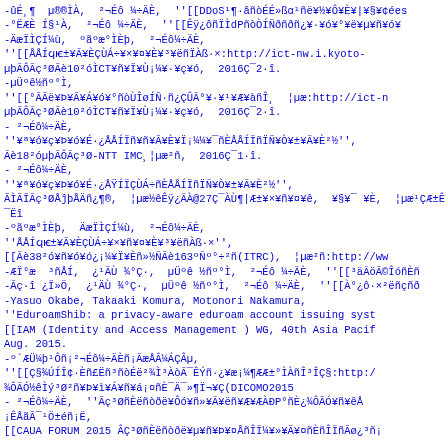Reference list in Japanese and mixed Japanese/English academic document, containing bibliography entries with URLs, author names, and publication details.